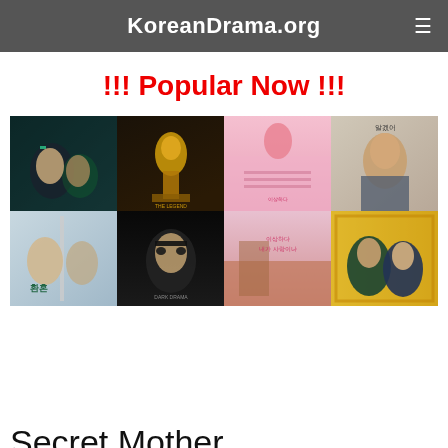KoreanDrama.org
!!! Popular Now !!!
[Figure (photo): A 4x2 grid of Korean drama poster images showing various drama promotional artwork with Korean text and actors]
Secret Mother